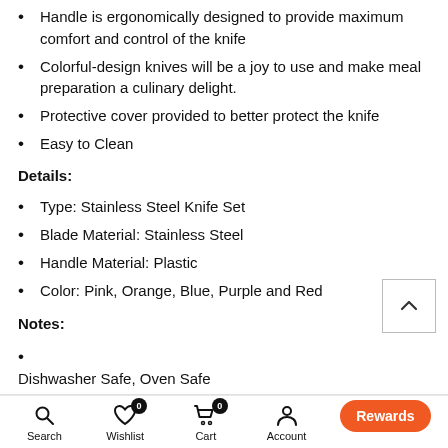Handle is ergonomically designed to provide maximum comfort and control of the knife
Colorful-design knives will be a joy to use and make meal preparation a culinary delight.
Protective cover provided to better protect the knife
Easy to Clean
Details:
Type: Stainless Steel Knife Set
Blade Material: Stainless Steel
Handle Material: Plastic
Color: Pink, Orange, Blue, Purple and Red
Notes:
Dishwasher Safe, Oven Safe
Search  Wishlist  Cart  Account  Shop  Rewards